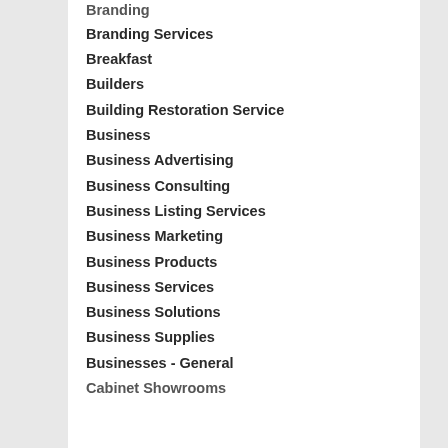Branding
Branding Services
Breakfast
Builders
Building Restoration Service
Business
Business Advertising
Business Consulting
Business Listing Services
Business Marketing
Business Products
Business Services
Business Solutions
Business Supplies
Businesses - General
Cabinet Showrooms